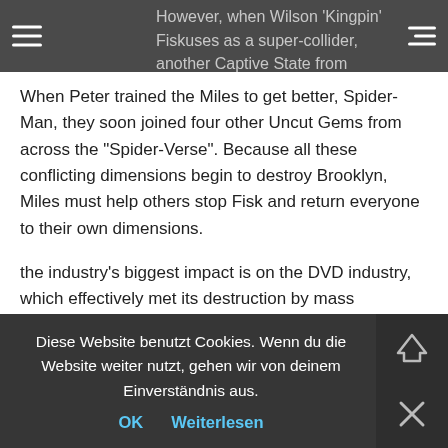However, when Wilson 'Kingpin' Fiskuses as a super-collider, another Captive State from another dimension, Peter Parker, accidentally ended up in the Miles dimension.
When Peter trained the Miles to get better, Spider-Man, they soon joined four other Uncut Gems from across the "Spider-Verse". Because all these conflicting dimensions begin to destroy Brooklyn, Miles must help others stop Fisk and return everyone to their own dimensions.
the industry's biggest impact is on the DVD industry, which effectively met its destruction by mass popularizing online content. The emergence of streaming media has caused the fall of many DVD rental companies such as Blockbuster. In July 2019, an article from the New York Times published an article about Netflix DVD, No Manches Frida 2s. It was stated that Netflix was continuing their DVD No. No Frida 2s with 5.3 million customers, which was a significant decrease from the previous year. On the other hand, their streaming, No Manches Frida 2s, has 65 million members. In a March 2019 study that assessed "The Impact of movies of Streaming on Traditional DVD Movie Rental" it was found that respondents did not buy DVD movies nearly as much, if ever, because streaming had taken over the market.
So we get more space adventures, more original story material and more after other available to the oldest to
Diese Website benutzt Cookies. Wenn du die Website weiter nutzt, gehen wir von deinem Einverständnis aus.